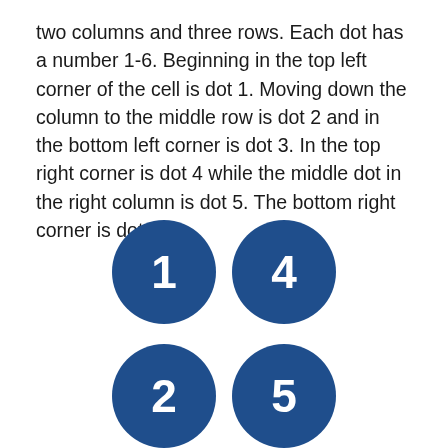two columns and three rows. Each dot has a number 1-6. Beginning in the top left corner of the cell is dot 1. Moving down the column to the middle row is dot 2 and in the bottom left corner is dot 3. In the top right corner is dot 4 while the middle dot in the right column is dot 5. The bottom right corner is dot 6.
[Figure (infographic): Six numbered blue circles arranged in a 2-column, 3-row braille cell pattern. Visible circles show dot 1 (top left), dot 4 (top right), dot 2 (middle left), dot 5 (middle right). Bottom row circles (3 and 6) are cut off.]